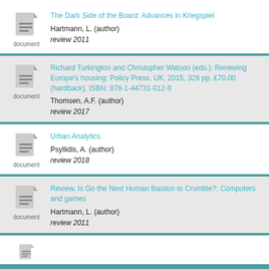The Dark Side of the Board: Advances in Kriegspiel — Hartmann, L. (author) — review 2011
Richard Turkington and Christopher Watson (eds.): Renewing Europe's housing: Policy Press, UK, 2015, 328 pp, £70.00 (hardback), ISBN: 978-1-44731-012-9 — Thomsen, A.F. (author) — review 2017
Urban Analytics — Psyllidis, A. (author) — review 2018
Review, Is Go the Next Human Bastion to Crumble?: Computers and games — Hartmann, L. (author) — review 2011